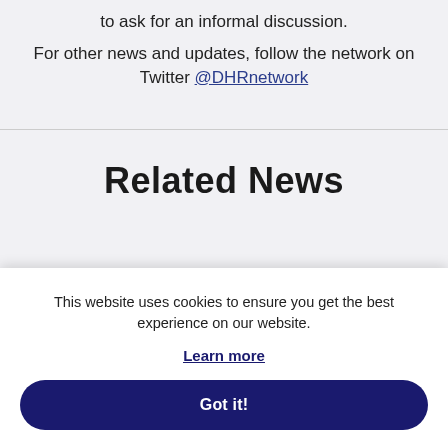to ask for an informal discussion.
For other news and updates, follow the network on Twitter @DHRnetwork
Related News
This website uses cookies to ensure you get the best experience on our website.
Learn more
Got it!